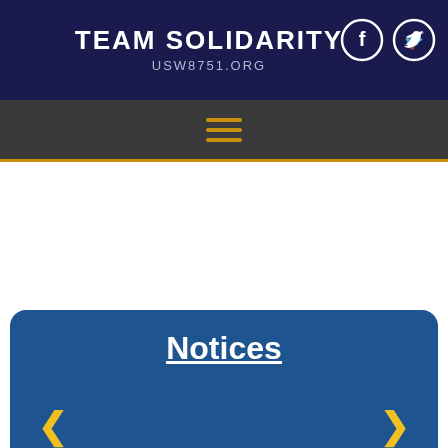TEAM SOLIDARITY
USW8751.ORG
[Figure (other): Facebook and Twitter social media icon circles in white outline on navy background]
[Figure (other): Hamburger menu icon with three horizontal gold/amber lines on dark gray navigation bar]
Notices